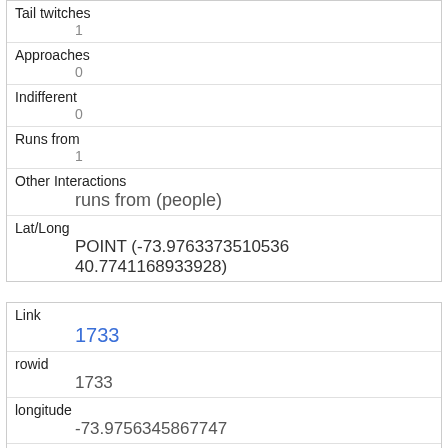| Tail twitches | 1 |
| Approaches | 0 |
| Indifferent | 0 |
| Runs from | 1 |
| Other Interactions | runs from (people) |
| Lat/Long | POINT (-73.9763373510536 40.7741168933928) |
| Link | 1733 |
| rowid | 1733 |
| longitude | -73.9756345867747 |
| latitude | 40.7675540517649 |